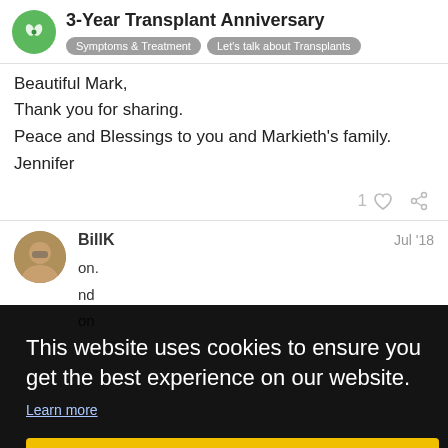3-Year Transplant Anniversary | Symptoms & Treatment | Let's talk about Transplants
Beautiful Mark,
Thank you for sharing.
Peace and Blessings to you and Markieth's family.
Jennifer
1 [like] [share]
BillK — Jul '18
...on. ...nd ...on
This website uses cookies to ensure you get the best experience on our website. Learn more
Got it!